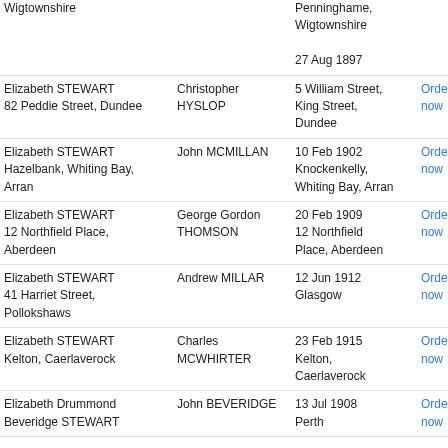| Name / Address | Spouse | Date / Place | Order | Code |
| --- | --- | --- | --- | --- |
| Wigtownshire |  | Penninghame, Wigtownshire
27 Aug 1897 | Order now | D S |
| Elizabeth STEWART
82 Peddie Street, Dundee | Christopher HYSLOP | 5 William Street, King Street, Dundee | Order now | D S |
| Elizabeth STEWART
Hazelbank, Whiting Bay, Arran | John MCMILLAN | 10 Feb 1902
Knockenkelly, Whiting Bay, Arran | Order now | G S |
| Elizabeth STEWART
12 Northfield Place, Aberdeen | George Gordon THOMSON | 20 Feb 1909
12 Northfield Place, Aberdeen | Order now | A S |
| Elizabeth STEWART
41 Harriet Street, Pollokshaws | Andrew MILLAR | 12 Jun 1912
Glasgow | Order now | P S |
| Elizabeth STEWART
Kelton, Caerlaverock | Charles MCWHIRTER | 23 Feb 1915
Kelton, Caerlaverock | Order now | D S |
| Elizabeth Drummond Beveridge STEWART | John BEVERIDGE | 13 Jul 1908
Perth | Order now | P S |